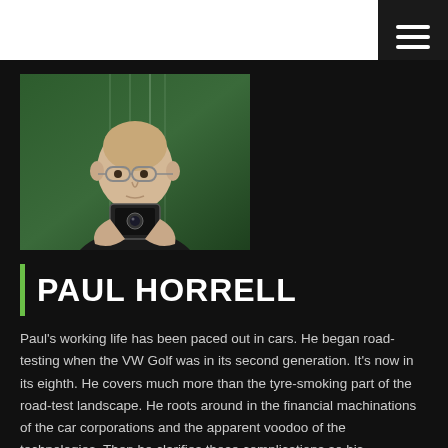[Figure (photo): Selfie photo of Paul Horrell, a bald man with glasses holding a camera/phone, taken in a green-tinted room with venetian blinds in the background]
PAUL HORRELL
Paul's working life has been paced out in cars. He began road-testing when the VW Golf was in its second generation. It's now in its eighth. He covers much more than the tyre-smoking part of the road-test landscape. He roots around in the financial machinations of the car corporations and the apparent voodoo of the technologies. Then he clarifies those complications so his